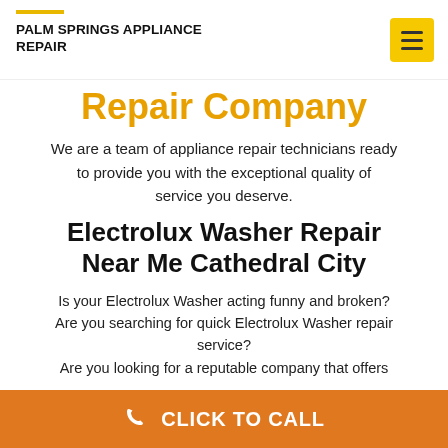PALM SPRINGS APPLIANCE REPAIR
Repair Company
We are a team of appliance repair technicians ready to provide you with the exceptional quality of service you deserve.
Electrolux Washer Repair Near Me Cathedral City
Is your Electrolux Washer acting funny and broken? Are you searching for quick Electrolux Washer repair service? Are you looking for a reputable company that offers
CLICK TO CALL